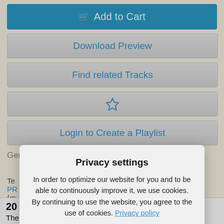Add to Cart
Download Preview
Find related Tracks
(star/favorite button)
Login to Create a Playlist
Genre: Game Soundtracks, Electronic Music, Film Music
Te... PR... (m...
Privacy settings
In order to optimize our website for you and to be able to continuously improve it, we use cookies. By continuing to use the website, you agree to the use of cookies. Privacy policy
Settings
Save
Accept all
20
The pirates gather for the final strike against the